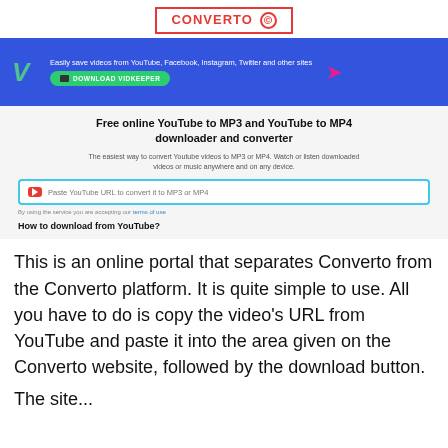[Figure (logo): CONVERTO logo in red with bordered rectangle and circle icon]
[Figure (screenshot): Blue banner with VidKeeper download promotion: green V logo, tagline 'Easily save videos from YouTube, Facebook, Instagram, Twitter and other sites', green Download VidKeeper button, pink arrow]
[Figure (screenshot): Gray content area showing: bold title 'Free online YouTube to MP3 and YouTube to MP4 downloader and converter', subtitle text, URL input box with YouTube icon and placeholder 'Paste YouTube URL to convert it to MP3 or MP4', terms of use link, and bold text 'How to download from YouTube?']
This is an online portal that separates Converto from the Converto platform. It is quite simple to use. All you have to do is copy the video’s URL from YouTube and paste it into the area given on the Converto website, followed by the download button.
The site...